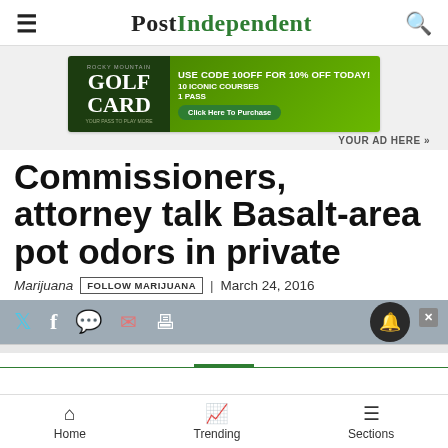Post Independent
[Figure (infographic): Rocky Mountain Golf Card advertisement banner: USE CODE 10OFF FOR 10% OFF TODAY! 10 ICONIC COURSES 1 PASS. Click Here To Purchase.]
YOUR AD HERE »
Commissioners, attorney talk Basalt-area pot odors in private
Marijuana | FOLLOW MARIJUANA | March 24, 2016
[Figure (infographic): Social sharing bar with Twitter, Facebook, comment, mail, and print icons, plus a notification bell button and close X button.]
Home   Trending   Sections